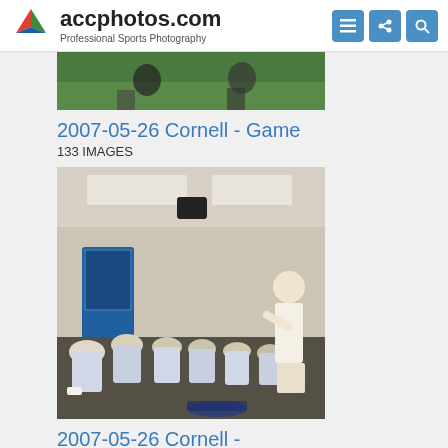accphotos.com — Professional Sports Photography
[Figure (photo): Partial top image strip showing sports players on a green field]
2007-05-26 Cornell - Game
133 IMAGES
[Figure (photo): Coach addressing lacrosse team in locker room after game, players seated on floor in white uniforms]
2007-05-26 Cornell - Postgame